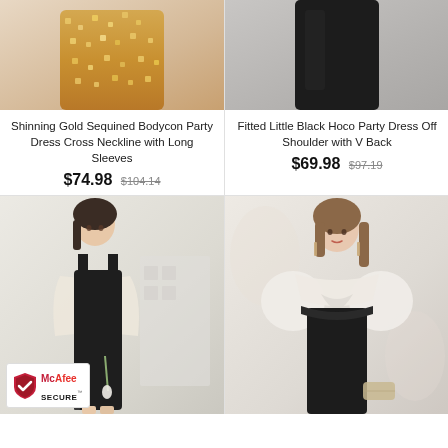[Figure (photo): Shinning Gold Sequined Bodycon Party Dress with long sleeves, photo cropped at legs/skirt showing gold sequin fabric against warm beige background]
[Figure (photo): Fitted Little Black Hoco Party Dress Off Shoulder with V Back, photo cropped at legs/skirt showing black dress against grey background]
Shinning Gold Sequined Bodycon Party Dress Cross Neckline with Long Sleeves
$74.98 $104.14
Fitted Little Black Hoco Party Dress Off Shoulder with V Back
$69.98 $97.19
[Figure (photo): Young woman in a black midi dress with sheer cream/white puff sleeves and square neckline, side slit, holding a flower, standing in front of a white shelf interior]
[Figure (photo): Young woman in a black and white off-shoulder dress with puff sleeves and twist front detail at bodice, holding a clutch bag, against a light background]
[Figure (logo): McAfee SECURE badge with red and black shield logo]